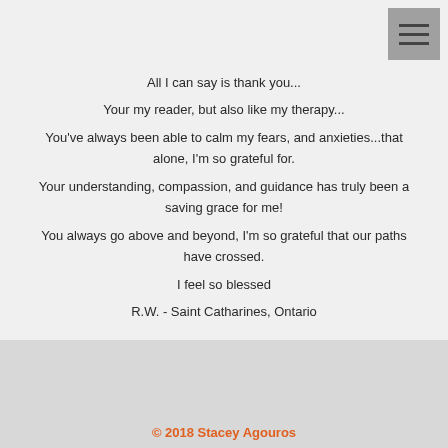All I can say is thank you...
Your my reader, but also like my therapy...
You've always been able to calm my fears, and anxieties...that alone, I'm so grateful for.
Your understanding, compassion, and guidance has truly been a saving grace for me!
You always go above and beyond, I'm so grateful that our paths have crossed.
I feel so blessed
R.W. - Saint Catharines, Ontario
© 2018 Stacey Agouros